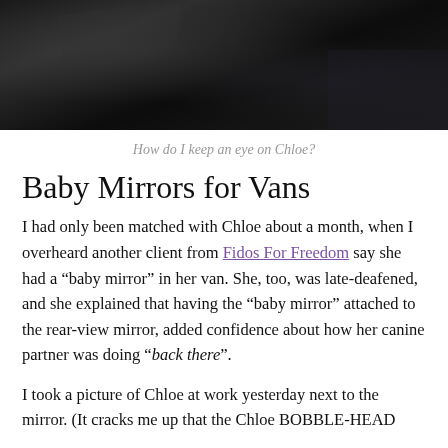[Figure (photo): Dark photograph, mostly black background with subtle shapes visible, appears to be taken in low light conditions]
How do I keep an eye on Chloe?
Baby Mirrors for Vans
I had only been matched with Chloe about a month, when I overheard another client from Fidos For Freedom say she had a “baby mirror” in her van. She, too, was late-deafened, and she explained that having the “baby mirror” attached to the rear-view mirror, added confidence about how her canine partner was doing “back there”.
I took a picture of Chloe at work yesterday next to the mirror. (It cracks me up that the Chloe BOBBLE-HEAD